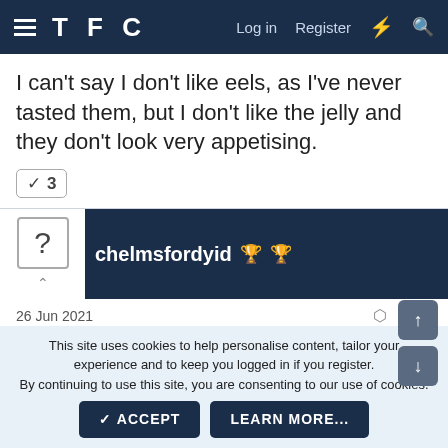TFC  Log in  Register
I can't say I don't like eels, as I've never tasted them, but I don't like the jelly and they don't look very appetising.
✓ 3
chelmsfordyid 🏆 🏆
26 Jun 2021    #133
Being of east end heritage I should love it but in truth it's proper naff.
This site uses cookies to help personalise content, tailor your experience and to keep you logged in if you register.
By continuing to use this site, you are consenting to our use of cookies.